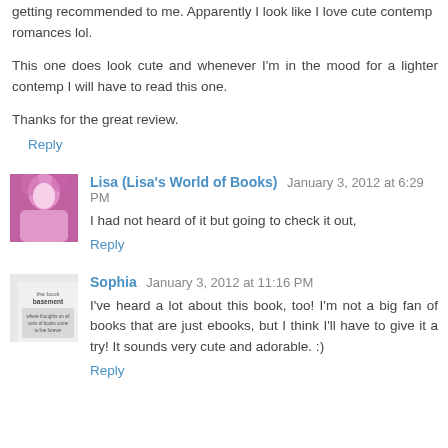getting recommended to me. Apparently I look like I love cute contemp romances lol.
This one does look cute and whenever I'm in the mood for a lighter contemp I will have to read this one.
Thanks for the great review.
Reply
Lisa (Lisa's World of Books) January 3, 2012 at 6:29 PM
I had not heard of it but going to check it out,
Reply
Sophia January 3, 2012 at 11:16 PM
I've heard a lot about this book, too! I'm not a big fan of books that are just ebooks, but I think I'll have to give it a try! It sounds very cute and adorable. :)
Reply